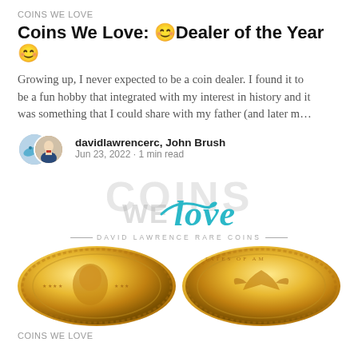COINS WE LOVE
Coins We Love: 😊Dealer of the Year😊
Growing up, I never expected to be a coin dealer. I found it to be a fun hobby that integrated with my interest in history and it was something that I could share with my father (and later m…
davidlawrencerc, John Brush
Jun 23, 2022 · 1 min read
[Figure (logo): Coins We Love logo — large grey 'COINS' text watermark behind teal 'WE love' text with a dolphin, and 'DAVID LAWRENCE RARE COINS' subtitle]
[Figure (photo): Two gold coins side by side — left shows obverse with Liberty head, right shows reverse with eagle]
COINS WE LOVE